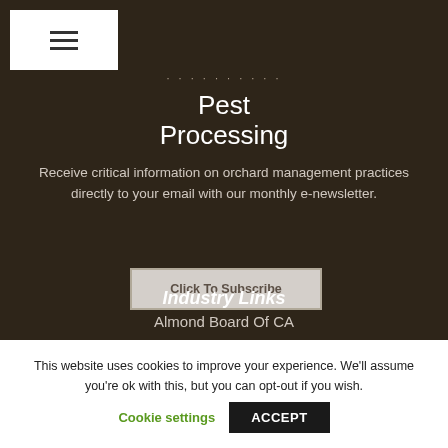[Figure (other): Hamburger menu button (three horizontal lines) inside a white rectangle on dark background]
Pest Processing
Receive critical information on orchard management practices directly to your email with our monthly e-newsletter.
Click To Subscribe
Industry Links
Almond Board Of CA
This website uses cookies to improve your experience. We'll assume you're ok with this, but you can opt-out if you wish.
Cookie settings
ACCEPT